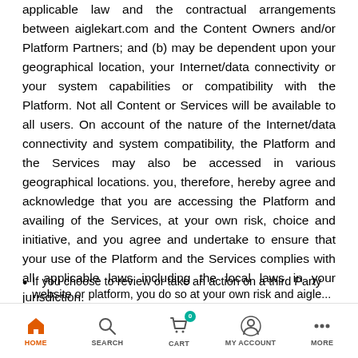applicable law and the contractual arrangements between aiglekart.com and the Content Owners and/or Platform Partners; and (b) may be dependent upon your geographical location, your Internet/data connectivity or your system capabilities or compatibility with the Platform. Not all Content or Services will be available to all users. On account of the nature of the Internet/data connectivity and system compatibility, the Platform and the Services may also be accessed in various geographical locations. you, therefore, hereby agree and acknowledge that you are accessing the Platform and availing of the Services, at your own risk, choice and initiative, and you agree and undertake to ensure that your use of the Platform and the Services complies with all applicable laws including the local laws in your jurisdiction.
If you choose to review or take an action on a third Party website or platform, you do so at your own risk and aigle...
[Figure (other): Mobile app navigation bar with icons: HOME (active, orange house icon), SEARCH (magnifying glass), CART (shopping cart with badge showing 0), MY ACCOUNT (person icon), MORE (three dots)]